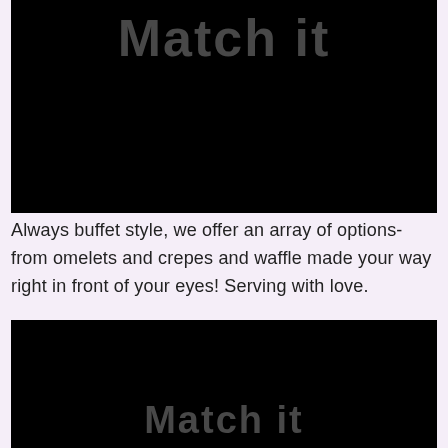[Figure (photo): Dark/black image with 'Match it' text visible in gray at the top]
Always buffet style, we offer an array of options- from omelets and crepes and waffle made your way right in front of your eyes! Serving with love.
[Figure (photo): Dark/black image with 'Match it' text visible in gray at the bottom]